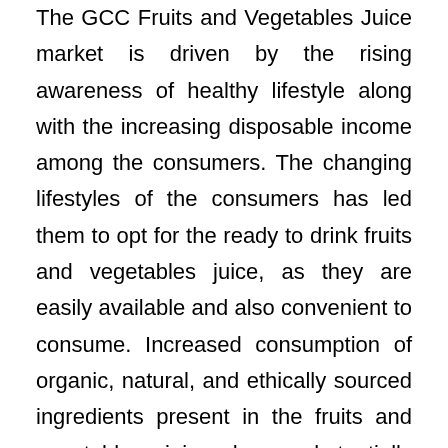The GCC Fruits and Vegetables Juice market is driven by the rising awareness of healthy lifestyle along with the increasing disposable income among the consumers. The changing lifestyles of the consumers has led them to opt for the ready to drink fruits and vegetables juice, as they are easily available and also convenient to consume. Increased consumption of organic, natural, and ethically sourced ingredients present in the fruits and vegetables juice has substantially increased the consumption of premium GCC Fruits and Vegetables Juice, which is one of the major factors driving the growth of the market. Additionally, the nutritional benefits which are offered by the Fruits and Vegetables Juice is the key factor that is